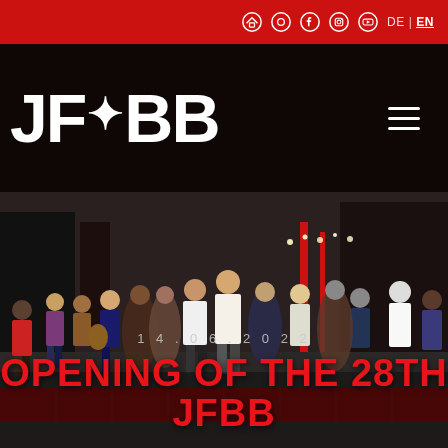Navigation bar with icons and language selector: DE | EN
[Figure (logo): JFBB logo in large bold white text with a star symbol between JF and BB, on dark background with hamburger menu icon on the right]
[Figure (photo): Crowd of people gathered outside a building on a red carpet at the opening event of the 28th JFBB film festival, evening setting]
14.06.2022
OPENING OF THE 28TH JFBB